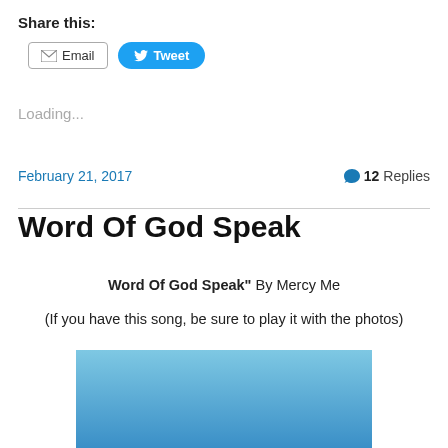Share this:
[Figure (other): Email and Tweet share buttons]
Loading...
February 21, 2017   💬 12 Replies
Word Of God Speak
Word Of God Speak" By Mercy Me
(If you have this song, be sure to play it with the photos)
[Figure (photo): Blue sky photo, partially visible at bottom of page]